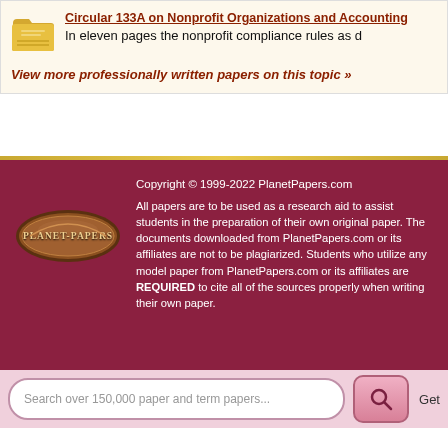Circular 133A on Nonprofit Organizations and Accounting
In eleven pages the nonprofit compliance rules as d
View more professionally written papers on this topic »
[Figure (logo): Planet Papers logo — bronze/gold emblem with text PLANET-PAPERS]
Copyright © 1999-2022 PlanetPapers.com
All papers are to be used as a research aid to assist students in the preparation of their own original paper. The documents downloaded from PlanetPapers.com or its affiliates are not to be plagiarized. Students who utilize any model paper from PlanetPapers.com or its affiliates are REQUIRED to cite all of the sources properly when writing their own paper.
Search over 150,000 paper and term papers...